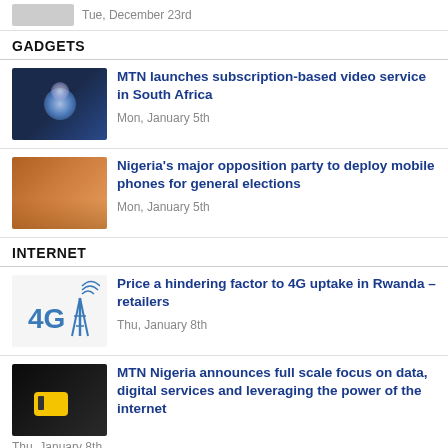Tue, December 23rd
GADGETS
MTN launches subscription-based video service in South Africa — Mon, January 5th
Nigeria's major opposition party to deploy mobile phones for general elections — Mon, January 5th
INTERNET
Price a hindering factor to 4G uptake in Rwanda – retailers — Thu, January 8th
MTN Nigeria announces full scale focus on data, digital services and leveraging the power of the internet — Thu, January 8th
MOBILE